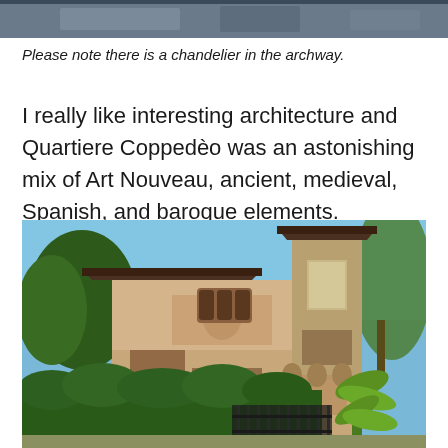[Figure (photo): Top portion of a photograph showing a street scene, partially cropped at the top of the page.]
Please note there is a chandelier in the archway.
I really like interesting architecture and Quartiere Coppedèo was an astonishing mix of Art Nouveau, ancient, medieval, Spanish, and baroque elements.
[Figure (photo): Photograph of a historic building in Quartiere Coppedè, Rome, showing ornate architecture with frescoes, arched windows, a tower, decorative brick patterns, iron gates, trimmed hedges, and tropical plants in the foreground under a clear blue sky.]